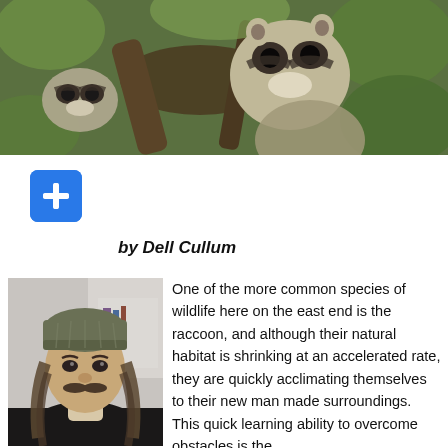[Figure (photo): Two raccoons among green leaves and branches in a wooded natural setting]
[Figure (other): Blue rounded square button with a white plus sign (+)]
by Dell Cullum
[Figure (photo): Portrait photo of a man with long hair, mustache, and knit beanie hat]
One of the more common species of wildlife here on the east end is the raccoon, and although their natural habitat is shrinking at an accelerated rate, they are quickly acclimating themselves to their new man made surroundings. This quick learning ability to overcome obstacles is the